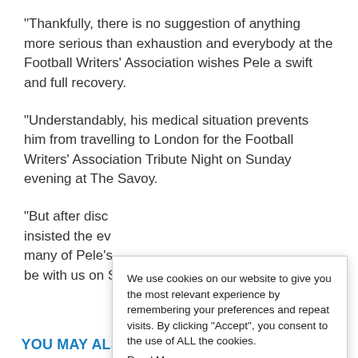“Thankfully, there is no suggestion of anything more serious than exhaustion and everybody at the Football Writers’ Association wishes Pele a swift and full recovery.
“Understandably, his medical situation prevents him from travelling to London for the Football Writers’ Association Tribute Night on Sunday evening at The Savoy.
“But after disc… insisted the ev… many of Pele’s… be with us on S…
We use cookies on our website to give you the most relevant experience by remembering your preferences and repeat visits. By clicking “Accept”, you consent to the use of ALL the cookies. Read More
Cookie settings  ACCEPT
YOU MAY ALSO LIKE:   CCTV captures brutal